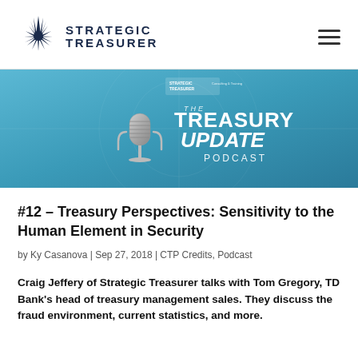Strategic Treasurer
[Figure (illustration): Treasury Update Podcast banner image with a vintage microphone on a blue gradient background, featuring the Strategic Treasurer logo and the text 'THE TREASURY UPDATE PODCAST']
#12 – Treasury Perspectives: Sensitivity to the Human Element in Security
by Ky Casanova | Sep 27, 2018 | CTP Credits, Podcast
Craig Jeffery of Strategic Treasurer talks with Tom Gregory, TD Bank's head of treasury management sales. They discuss the fraud environment, current statistics, and more.